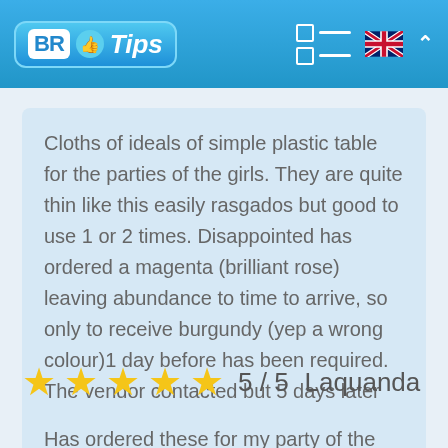BR Tips
Cloths of ideals of simple plastic table for the parties of the girls. They are quite thin like this easily rasgados but good to use 1 or 2 times. Disappointed has ordered a magenta (brilliant rose) leaving abundance to time to arrive, so only to receive burgundy (yep a wrong colour)1 day before has been required. The vendor contacted but 5 days later this in spite of any response.
5 / 5  Laquanda
Has ordered these for my party of the anniversary